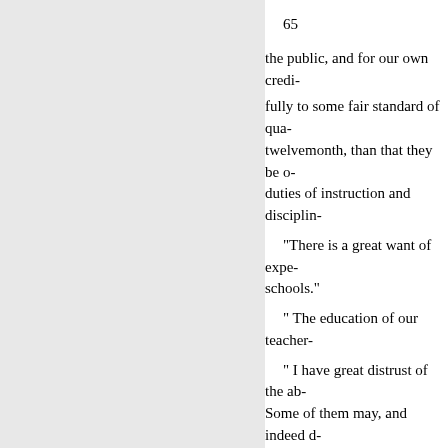65
the public, and for our own credi- fully to some fair standard of qua- twelvemonth, than that they be o- duties of instruction and disciplin-
“There is a great want of expe- schools.”
“ The education of our teacher-
" I have great distrust of the ab- Some of them may, and indeed d- of school, in doing any good.”
*** **** If a teacher presented h- East, he was permitted to go into- the part of our school oiliers, the- take proper care of themselves. T-
“Qualified teachers, particular- circumstances, “What shall we d-
The qualifications of teache- " The standard of qualificati-